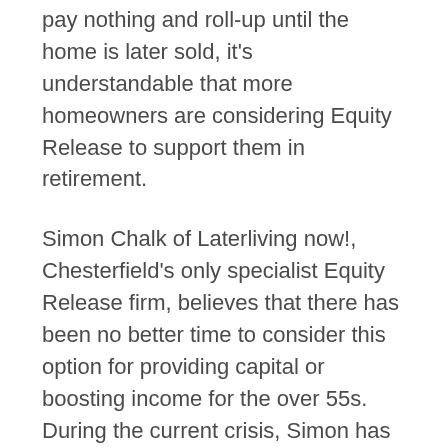pay nothing and roll-up until the home is later sold, it's understandable that more homeowners are considering Equity Release to support them in retirement.
Simon Chalk of Laterliving now!, Chesterfield's only specialist Equity Release firm, believes that there has been no better time to consider this option for providing capital or boosting income for the over 55s. During the current crisis, Simon has noticed a sharp rise in people looking to pay for care privately at home, with Equity Release providing a means of meeting the cost.
"Anyone looking to unlock tax-free cash tied up in their home to help themselves or their loved ones, can now benefit